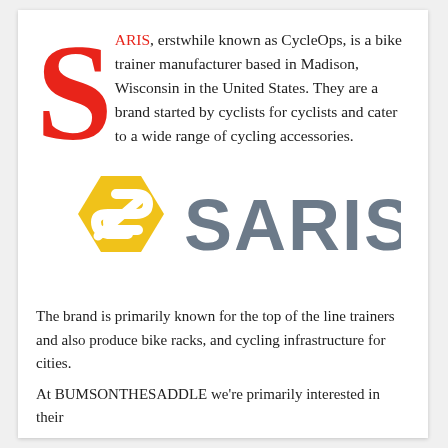SARIS, erstwhile known as CycleOps, is a bike trainer manufacturer based in Madison, Wisconsin in the United States. They are a brand started by cyclists for cyclists and cater to a wide range of cycling accessories.
[Figure (logo): Saris logo: yellow hexagonal S icon on the left, grey bold text SARIS on the right]
The brand is primarily known for the top of the line trainers and also produce bike racks, and cycling infrastructure for cities.
At BUMSONTHESADDLE we're primarily interested in their